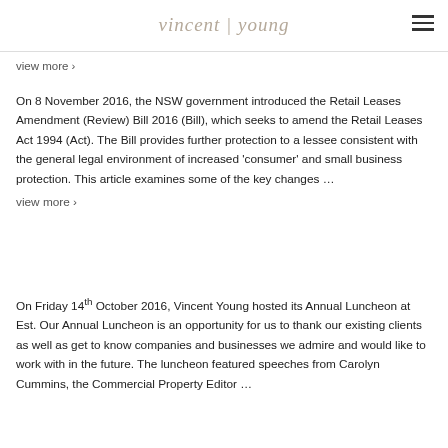vincent | young
view more ›
On 8 November 2016, the NSW government introduced the Retail Leases Amendment (Review) Bill 2016 (Bill), which seeks to amend the Retail Leases Act 1994 (Act). The Bill provides further protection to a lessee consistent with the general legal environment of increased 'consumer' and small business protection. This article examines some of the key changes … view more ›
On Friday 14th October 2016, Vincent Young hosted its Annual Luncheon at Est. Our Annual Luncheon is an opportunity for us to thank our existing clients as well as get to know companies and businesses we admire and would like to work with in the future. The luncheon featured speeches from Carolyn Cummins, the Commercial Property Editor …